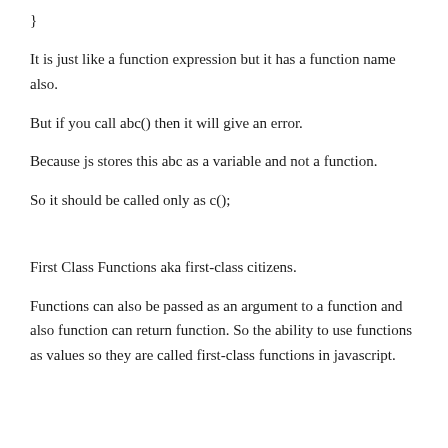}
It is just like a function expression but it has a function name also.
But if you call abc() then it will give an error.
Because js stores this abc as a variable and not a function.
So it should be called only as c();
First Class Functions aka first-class citizens.
Functions can also be passed as an argument to a function and also function can return function. So the ability to use functions as values so they are called first-class functions in javascript.